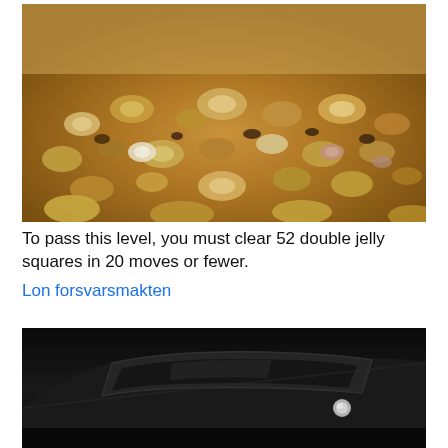[Figure (photo): Close-up macro photo of sandy beach with many small seashells and pebbles in warm brown and golden tones]
To pass this level, you must clear 52 double jelly squares in 20 moves or fewer.
Lon forsvarsmakten
[Figure (photo): Black and white photo of a vintage car, showing the roofline and rear window area, very dark/moody]